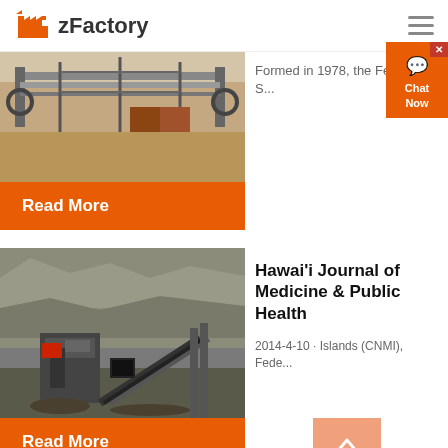zFactory
[Figure (photo): Industrial conveyor belt machinery with metal framework at a mining or quarry site, viewed from above]
Formed in 1978, the Federated S...
Read More
[Figure (photo): Heavy mining machinery including crushers and conveyors at a quarry or stone crushing site]
Hawai'i Journal of Medicine & Public Health
2014-4-10 · Islands (CNMI), Fede...
Read More